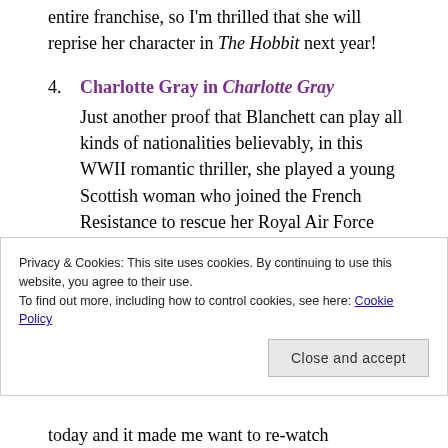entire franchise, so I'm thrilled that she will reprise her character in The Hobbit next year!
4. Charlotte Gray in Charlotte Gray — Just another proof that Blanchett can play all kinds of nationalities believably, in this WWII romantic thriller, she played a young Scottish woman who joined the French Resistance to rescue her Royal Air Force boyfriend who's lost in France. I saw
Privacy & Cookies: This site uses cookies. By continuing to use this website, you agree to their use. To find out more, including how to control cookies, see here: Cookie Policy
today and it made me want to re-watch